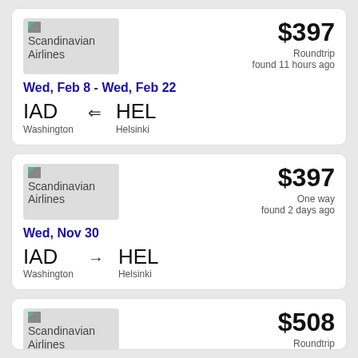[Figure (screenshot): Flight search result card 1: Scandinavian Airlines, $397 Roundtrip, found 11 hours ago, Wed Feb 8 - Wed Feb 22, IAD Washington to HEL Helsinki]
[Figure (screenshot): Flight search result card 2: Scandinavian Airlines, $397 One way, found 2 days ago, Wed Nov 30, IAD Washington to HEL Helsinki]
[Figure (screenshot): Flight search result card 3: Scandinavian Airlines, $508 Roundtrip, found 2 days ago, Wed Nov 2 - Wed Nov 16, IAD to HEL (partially visible)]